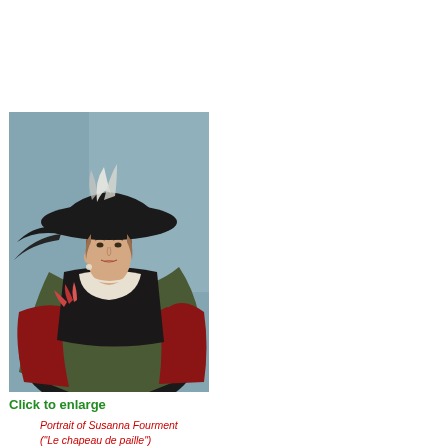[Figure (photo): Painting of a young woman in a black wide-brimmed hat with white feathers, wearing a dark dress with red sleeves and a green wrap, holding flowers, with a blue-grey sky background. Portrait of Susanna Fourment by Rubens.]
Click to enlarge
Portrait of Susanna Fourment ("Le chapeau de paille") c. 1622-25